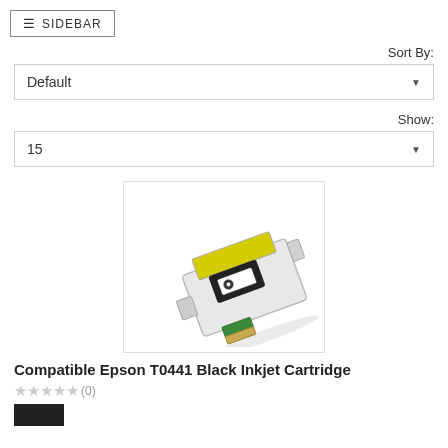≡ SIDEBAR
Sort By:
Default
Show:
15
[Figure (photo): Compatible Epson T0441 Black Inkjet Cartridge product photo showing a white and black ink cartridge with yellow top label on white background]
Compatible Epson T0441 Black Inkjet Cartridge
★★★★★(0)
■